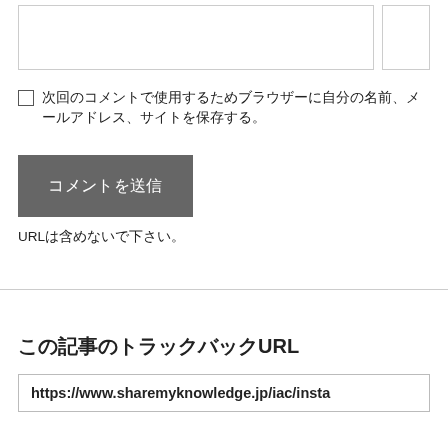次回のコメントで使用するためブラウザーに自分の名前、メールアドレス、サイトを保存する。
コメントを送信
URLは含めないで下さい。
この記事のトラックバックURL
https://www.sharemyknowledge.jp/iac/insta